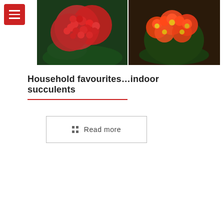[Figure (photo): Two side-by-side photos of red flowering succulents (kalanchoe-type plants with clusters of red flowers)]
Household favourites…indoor succulents
Read more
[Figure (photo): Black and white vintage photograph of nuns sitting around a table listening to a man playing vinyl records, dated August 16, 2022]